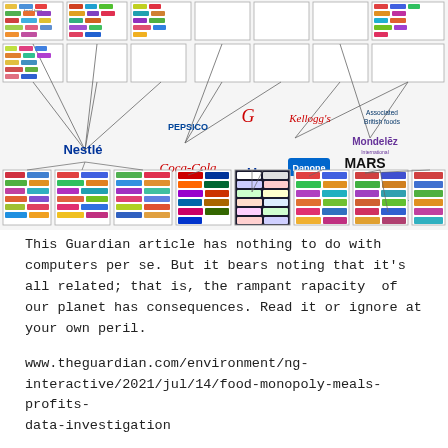[Figure (infographic): A corporate ownership tree diagram showing major food and beverage conglomerates (Nestlé, PepsiCo, Kellogg's, Associated British Foods, Mondelēz, Coca-Cola, Unilever, Danone, Mars, Wrigley) and the many consumer brands they own, connected by lines indicating ownership hierarchy.]
This Guardian article has nothing to do with computers per se. But it bears noting that it's all related; that is, the rampant rapacity of our planet has consequences. Read it or ignore at your own peril.
www.theguardian.com/environment/ng-interactive/2021/jul/14/food-monopoly-meals-profits-data-investigation